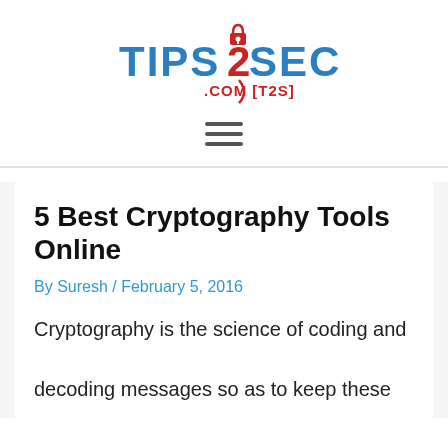[Figure (logo): Tips2Secure.com [T2S] logo with padlock icon, blue and red text]
5 Best Cryptography Tools Online
By Suresh / February 5, 2016
Cryptography is the science of coding and decoding messages so as to keep these